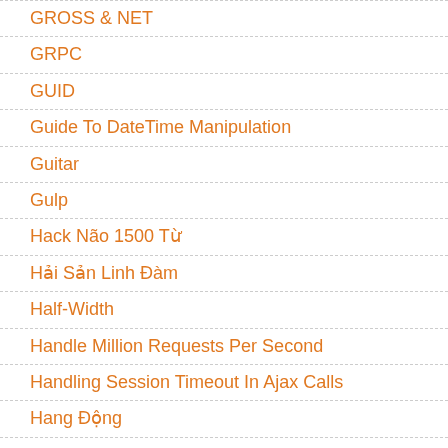GROSS & NET
GRPC
GUID
Guide To DateTime Manipulation
Guitar
Gulp
Hack Não 1500 Từ
Hải Sản Linh Đàm
Half-Width
Handle Million Requests Per Second
Handling Session Timeout In Ajax Calls
Hang Động
Hangfire
Happy Coding
Hardcoding